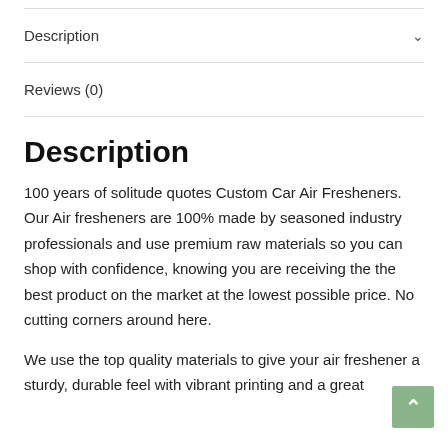Description
Reviews (0)
Description
100 years of solitude quotes Custom Car Air Fresheners. Our Air fresheners are 100% made by seasoned industry professionals and use premium raw materials so you can shop with confidence, knowing you are receiving the the best product on the market at the lowest possible price. No cutting corners around here.
We use the top quality materials to give your air freshener a sturdy, durable feel with vibrant printing and a great